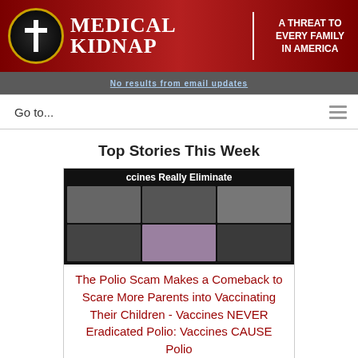[Figure (logo): Medical Kidnap website header banner with red gradient background, circular logo with cross, site title 'Medical Kidnap' in serif font, vertical divider, tagline 'A Threat to Every Family in America']
Go to...
Top Stories This Week
[Figure (photo): Collage of black and white historical photos with text overlay 'ccines Really Eliminate' at top]
The Polio Scam Makes a Comeback to Scare More Parents into Vaccinating Their Children - Vaccines NEVER Eradicated Polio: Vaccines CAUSE Polio